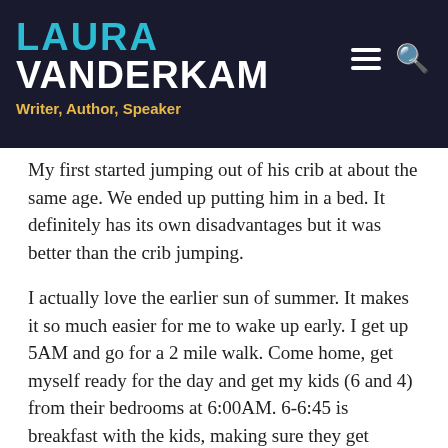LAURA VANDERKAM – Writer, Author, Speaker
My first started jumping out of his crib at about the same age. We ended up putting him in a bed. It definitely has its own disadvantages but it was better than the crib jumping.
I actually love the earlier sun of summer. It makes it so much easier for me to wake up early. I get up 5AM and go for a 2 mile walk. Come home, get myself ready for the day and get my kids (6 and 4) from their bedrooms at 6:00AM. 6-6:45 is breakfast with the kids, making sure they get dressed and ready for the bus. I leave for work at 6:45 and my husband waits for the elementary bus (which comes at 7:10) and drops the younger one at daycare. I am at work around 7:15.